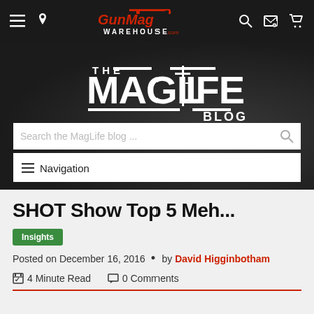GunMag Warehouse - The MagLife Blog
[Figure (logo): GunMag Warehouse logo with red gun graphic and red/white text on dark navigation bar]
[Figure (logo): The MagLife Blog logo in white text with rifle graphic on dark background hero banner]
SHOT Show Top 5 Meh...
Insights
Posted on December 16, 2016  •  by David Higginbotham
4 Minute Read   0 Comments